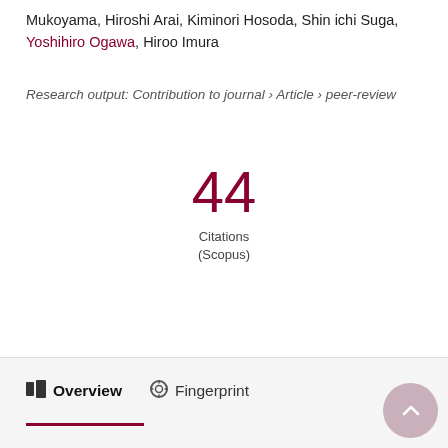Mukoyama, Hiroshi Arai, Kiminori Hosoda, Shin ichi Suga, Yoshihiro Ogawa, Hiroo Imura
Research output: Contribution to journal › Article › peer-review
44 Citations (Scopus)
Overview   Fingerprint